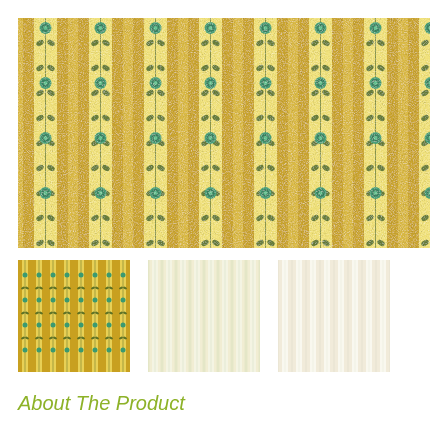[Figure (photo): Large main product image showing a repeating vertical stripe fabric pattern with golden yellow background, dark green vine/leaf motifs, and teal/green floral medallions arranged in vertical columns.]
[Figure (photo): Thumbnail 1: Same fabric pattern with golden-yellow and green stripe motif, close-up view.]
[Figure (photo): Thumbnail 2: Same fabric pattern in lighter cream/beige colorway with subtle blue-grey stripes.]
[Figure (photo): Thumbnail 3: Same fabric pattern in very light cream/off-white colorway with faint stripe detail.]
About The Product